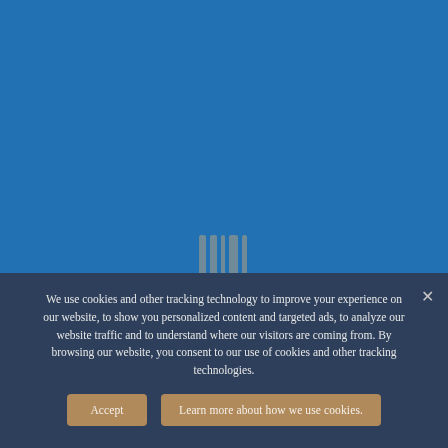[Figure (illustration): Blue background covering the upper portion of the page, representing a website background.]
We use cookies and other tracking technology to improve your experience on our website, to show you personalized content and targeted ads, to analyze our website traffic and to understand where our visitors are coming from. By browsing our website, you consent to our use of cookies and other tracking technologies.
Accept
Learn more about how we use cookies.